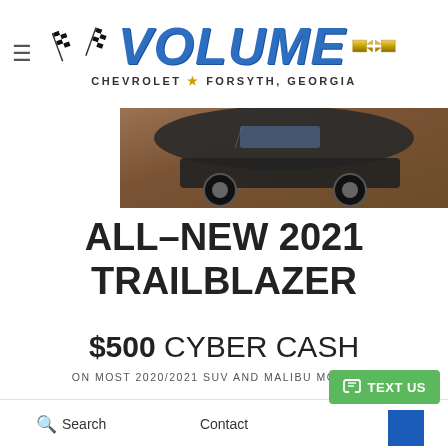[Figure (logo): Volume Chevrolet Forsyth Georgia dealership logo with crossed checkered racing flags, bold blue italic 'VOLUME' text, gold Chevrolet bowtie emblem, and tagline 'CHEVROLET ★ FORSYTH, GEORGIA']
[Figure (photo): Rear/side view of a dark SUV (Trailblazer) on a dirt/mud terrain background]
ALL-NEW 2021 TRAILBLAZER
$500 CYBER CASH
ON MOST 2020/2021 SUV AND MALIBU MODELS¹
— THAT'S —
Search
Contact
TEXT US